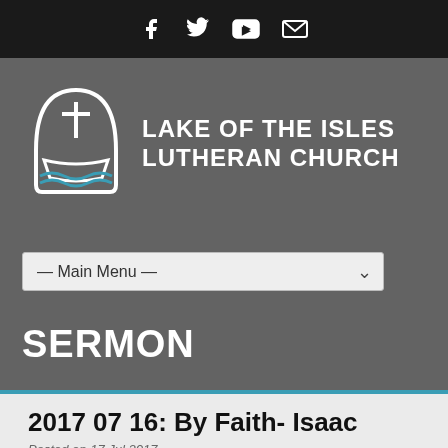Social icons: Facebook, Twitter, YouTube, Email
[Figure (logo): Lake of the Isles Lutheran Church logo — a white outlined boat with a cross, on blue waves, inside an arch shape, with text 'LAKE OF THE ISLES LUTHERAN CHURCH' in white]
— Main Menu —
SERMON
2017 07 16: By Faith- Isaac
Posted on 17 Jul 2017